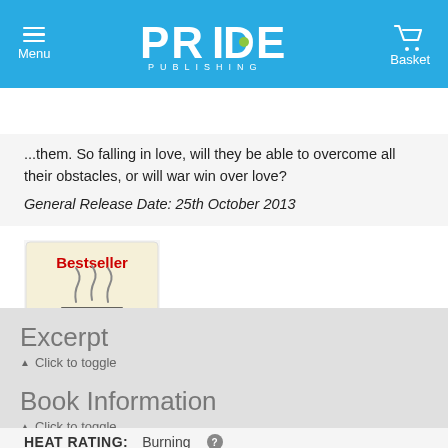Menu | PRIDE PUBLISHING | Basket
Search
...them. So falling in love, will they be able to overcome all their obstacles, or will war win over love?
General Release Date: 25th October 2013
[Figure (logo): ARE Bestseller badge showing a coffee cup with steam and text 'Bestseller' in red above the ARE logo]
Excerpt
▲ Click to toggle
Book Information
▲ Click to toggle
HEAT RATING: Burning ℹ